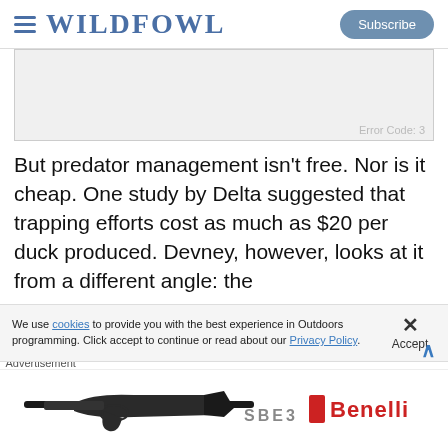WILDFOWL
[Figure (other): Video placeholder with error code 3]
But predator management isn't free. Nor is it cheap. One study by Delta suggested that trapping efforts cost as much as $20 per duck produced. Devney, however, looks at it from a different angle: the
We use cookies to provide you with the best experience in Outdoors programming. Click accept to continue or read about our Privacy Policy.
Advertisement
[Figure (photo): Benelli SBE3 shotgun advertisement banner]